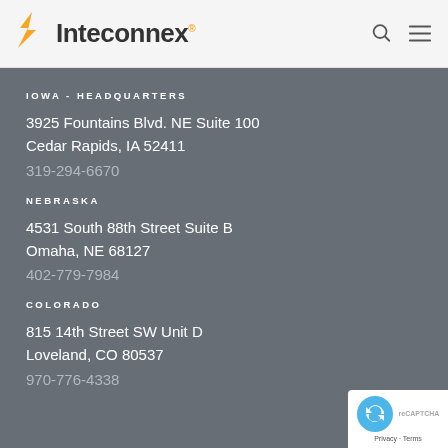Inteconnex
IOWA - HEADQUARTERS
3925 Fountains Blvd. NE Suite 100
Cedar Rapids, IA 52411
319-294-6670
NEBRASKA
4531 South 88th Street Suite B
Omaha, NE 68127
402-779-7984
COLORADO
815 14th Street SW Unit D
Loveland, CO 80537
970-776-4338